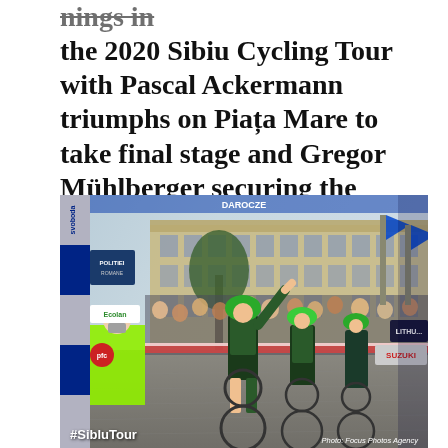...ings in the 2020 Sibiu Cycling Tour with Pascal Ackermann triumphs on Piața Mare to take final stage and Gregor Mühlberger securing the overall.
[Figure (photo): Cycling race finish line photo at Piața Mare. A cyclist in a green and black jersey raises one arm in victory as he crosses the finish line, with other cyclists close behind. A woman in a yellow jacket and face mask stands near the finish arch decorated with sponsor banners including 'svoboda', 'Bucatan', and others. Blue sponsor flags line the right side. A historic building is visible in the background. The hashtag #SibluTour appears in the lower left and 'Photo: Focus Photos Agency' credit appears lower right.]
#SibluTour  Photo: Focus Photos Agency